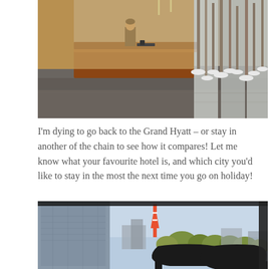[Figure (photo): Hotel lobby with a reception desk staffed by a person in a suit, polished dark marble floors, warm wood paneling on the reception counter, and decorative birch trees with snow at their bases against frosted glass panels in the background.]
I'm dying to go back to the Grand Hyatt – or stay in another of the chain to see how it compares! Let me know what your favourite hotel is, and which city you'd like to stay in the most the next time you go on holiday!
[Figure (photo): View from a hotel room window showing Tokyo Tower in the background with city skyline and trees, with a pair of black high-heeled shoes in the foreground on the windowsill.]